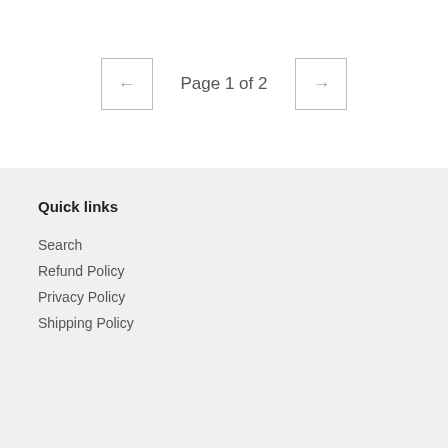Page 1 of 2
Quick links
Search
Refund Policy
Privacy Policy
Shipping Policy